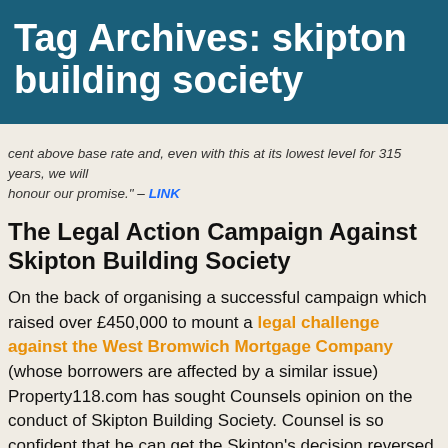Tag Archives: skipton building society
cent above base rate and, even with this at its lowest level for 315 years, we will honour our promise." – LINK
The Legal Action Campaign Against Skipton Building Society
On the back of organising a successful campaign which raised over £450,000 to mount a legal challenge against the West Bromwich Mortgage Company (whose borrowers are affected by a similar issue) Property118.com has sought Counsels opinion on the conduct of Skipton Building Society. Counsel is so confident that he can get the Skipton's decision reversed if the matter goes to Court that he is willing to work on a "no-